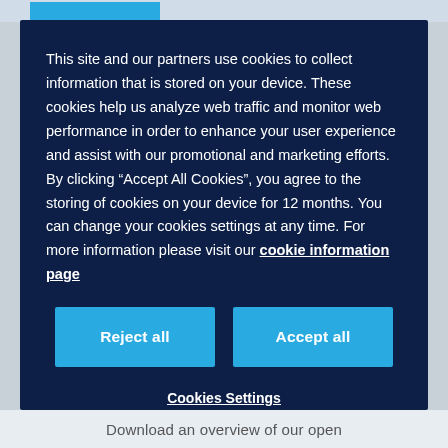This site and our partners use cookies to collect information that is stored on your device. These cookies help us analyze web traffic and monitor web performance in order to enhance your user experience and assist with our promotional and marketing efforts. By clicking “Accept All Cookies”, you agree to the storing of cookies on your device for 12 months. You can change your cookies settings at any time. For more information please visit our cookie information page
Reject all
Accept all
Cookies Settings
Download an overview of our open